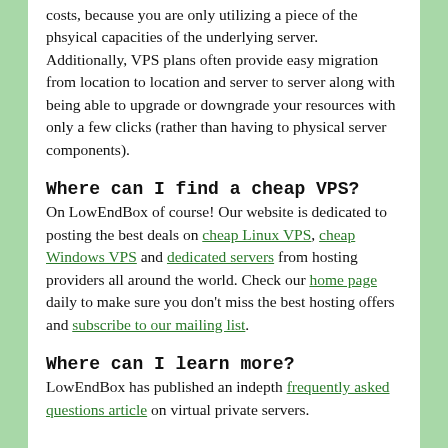costs, because you are only utilizing a piece of the phsyical capacities of the underlying server. Additionally, VPS plans often provide easy migration from location to location and server to server along with being able to upgrade or downgrade your resources with only a few clicks (rather than having to physical server components).
Where can I find a cheap VPS?
On LowEndBox of course! Our website is dedicated to posting the best deals on cheap Linux VPS, cheap Windows VPS and dedicated servers from hosting providers all around the world. Check our home page daily to make sure you don't miss the best hosting offers and subscribe to our mailing list.
Where can I learn more?
LowEndBox has published an indepth frequently asked questions article on virtual private servers.